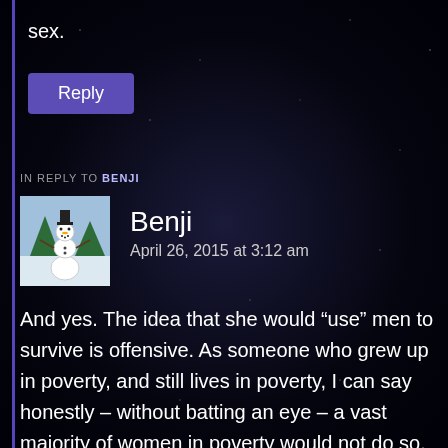sex.
Reply
IN REPLY TO BENJI
Benji
April 26, 2015 at 3:12 am
And yes. The idea that she would “use” men to survive is offensive. As someone who grew up in poverty, and still lives in poverty, I can say honestly – without batting an eye – a vast majority of women in poverty would not do so. For either pride or moral purposes. In some